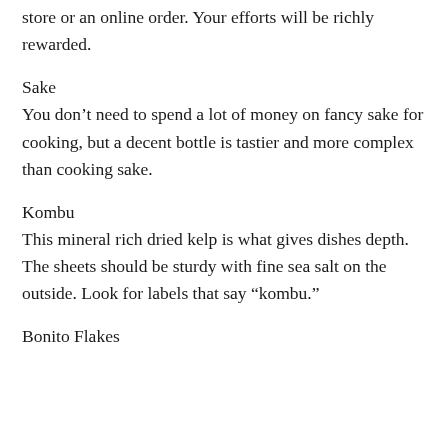store or an online order. Your efforts will be richly rewarded.
Sake
You don’t need to spend a lot of money on fancy sake for cooking, but a decent bottle is tastier and more complex than cooking sake.
Kombu
This mineral rich dried kelp is what gives dishes depth. The sheets should be sturdy with fine sea salt on the outside. Look for labels that say “kombu.”
Bonito Flakes